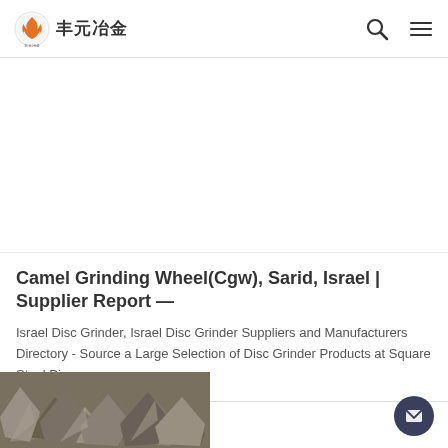丰元冶金
[Figure (photo): Coiled green steel wire/bar on wooden pallets against a stone wall background]
Camel Grinding Wheel(Cgw), Sarid, Israel | Supplier Report —
Israel Disc Grinder, Israel Disc Grinder Suppliers and Manufacturers Directory - Source a Large Selection of Disc Grinder Products at Square Steel Pipes,
[Figure (photo): Pile of rough grey and brown stone/ore chunks]